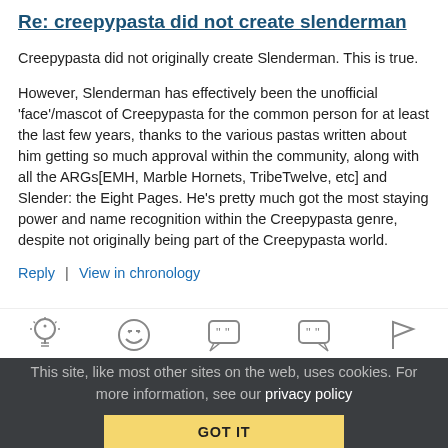Re: creepypasta did not create slenderman
Creepypasta did not originally create Slenderman. This is true.
However, Slenderman has effectively been the unofficial 'face'/mascot of Creepypasta for the common person for at least the last few years, thanks to the various pastas written about him getting so much approval within the community, along with all the ARGs[EMH, Marble Hornets, TribeTwelve, etc] and Slender: the Eight Pages. He’s pretty much got the most staying power and name recognition within the Creepypasta genre, despite not originally being part of the Creepypasta world.
Reply | View in chronology
[Figure (infographic): Row of 5 icons: lightbulb, laughing emoji, opening quote bubble, closing quote bubble, flag]
This site, like most other sites on the web, uses cookies. For more information, see our privacy policy
GOT IT